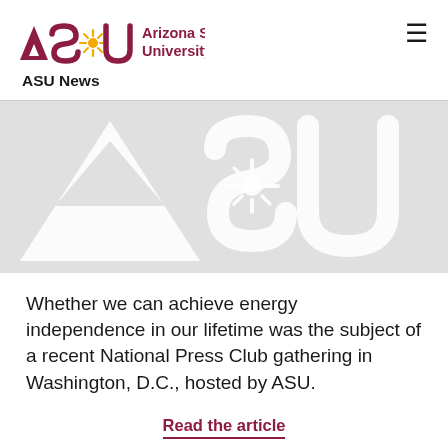ASU Arizona State University ASU News
[Figure (logo): ASU watermark logo image showing large stylized ASU letters in light gray with sunburst design]
Whether we can achieve energy independence in our lifetime was the subject of a recent National Press Club gathering in Washington, D.C., hosted by ASU.
Read the article